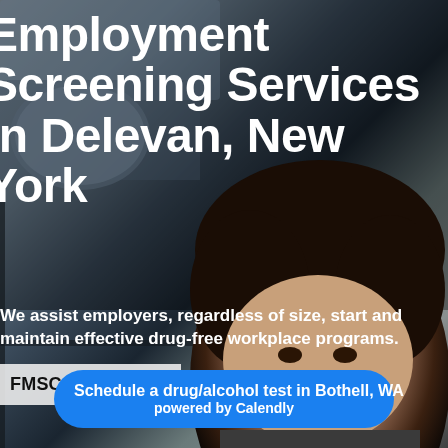Employment Screening Services in Delevan, New York
We assist employers, regardless of size, start and maintain effective drug-free workplace programs.
FMSCA Training
Schedule a drug/alcohol test in Bothell, WA powered by Calendly
[Figure (photo): Background photo of a smiling woman with curly dark hair inside a vehicle, seen through a windshield with a mirror visible, in black and white / muted tones]